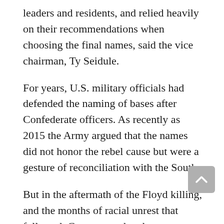leaders and residents, and relied heavily on their recommendations when choosing the final names, said the vice chairman, Ty Seidule.
For years, U.S. military officials had defended the naming of bases after Confederate officers. As recently as 2015 the Army argued that the names did not honor the rebel cause but were a gesture of reconciliation with the South.
But in the aftermath of the Floyd killing, and the months of racial unrest that followed, Congress ordered a comprehensive plan to rename the military posts and hundreds of other federal assets such as roads, buildings, memorials, signs and landmarks that honored rebel leaders.
The change in the military's thinking was reflected in congressional testimony by Army Gen. Mark Milley, chairman of the Joint Chiefs of Staff, a month after Floyd's death. said that the current base names could be reminders to soldiers that rebel officers fought for an institution that may